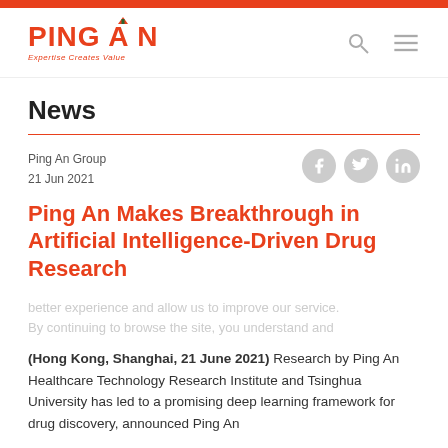[Figure (logo): Ping An logo with orange text 'PING AN' and tagline 'Expertise Creates Value']
News
Ping An Group
21 Jun 2021
Ping An Makes Breakthrough in Artificial Intelligence-Driven Drug Research
(Hong Kong, Shanghai, 21 June 2021) Research by Ping An Healthcare Technology Research Institute and Tsinghua University has led to a promising deep learning framework for drug discovery, announced Ping An